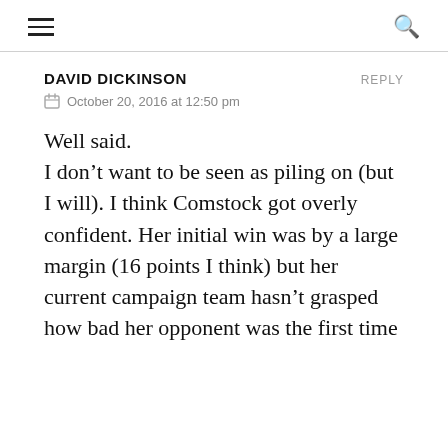☰  🔍
DAVID DICKINSON   REPLY
October 20, 2016 at 12:50 pm
Well said.
I don't want to be seen as piling on (but I will). I think Comstock got overly confident. Her initial win was by a large margin (16 points I think) but her current campaign team hasn't grasped how bad her opponent was the first time